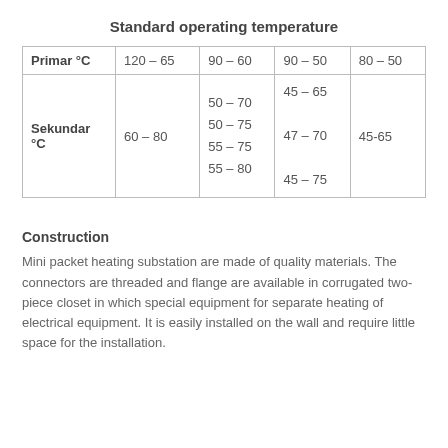Standard operating temperature
|  | 120 – 65 | 90 – 60 | 90 – 50 | 80 – 50 |
| --- | --- | --- | --- | --- |
| Primar °C | 120 – 65 | 90 – 60 | 90 – 50 | 80 – 50 |
| Sekundar °C | 60 – 80 | 50 – 70
50 – 75
55 – 75
55 – 80 | 45 – 65
47 – 70
45 – 75 | 45-65 |
Construction
Mini packet heating substation are made of quality materials. The connectors are threaded and flange are available in corrugated two-piece closet in which special equipment for separate heating of electrical equipment. It is easily installed on the wall and require little space for the installation.